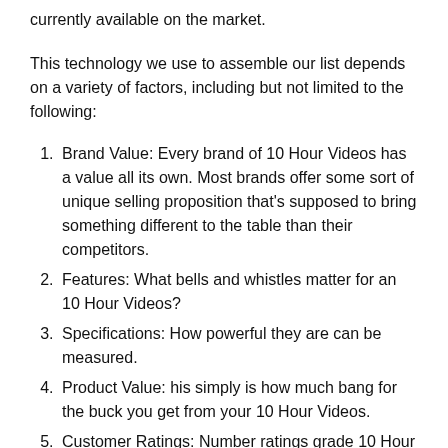currently available on the market.
This technology we use to assemble our list depends on a variety of factors, including but not limited to the following:
Brand Value: Every brand of 10 Hour Videos has a value all its own. Most brands offer some sort of unique selling proposition that's supposed to bring something different to the table than their competitors.
Features: What bells and whistles matter for an 10 Hour Videos?
Specifications: How powerful they are can be measured.
Product Value: his simply is how much bang for the buck you get from your 10 Hour Videos.
Customer Ratings: Number ratings grade 10 Hour Videos objectively.